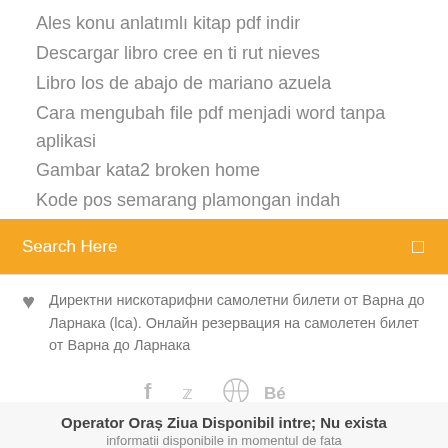Ales konu anlatımlı kitap pdf indir
Descargar libro cree en ti rut nieves
Libro los de abajo de mariano azuela
Cara mengubah file pdf menjadi word tanpa aplikasi
Gambar kata2 broken home
Kode pos semarang plamongan indah
Search Here
Директни нискотарифни самолетни билети от Варна до Ларнака (lca). Онлайн резервация на самолетен билет от Варна до Ларнака
[Figure (other): Social media icons: facebook (f), twitter bird, dribbble, behance (Bé)]
Operator Oraș Ziua Disponibil intre; Nu exista informatii disponibile in momentul de fata